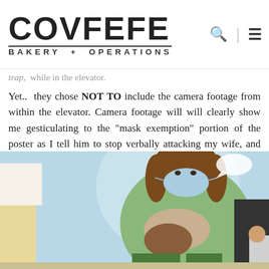COVFEFE BAKERY + OPERATIONS
trap, while in the elevator.
Yet.. they chose NOT TO include the camera footage from within the elevator. Camera footage will will clearly show me gesticulating to the "mask exemption" portion of the poster as I tell him to stop verbally attacking my wife, and telling him to stay the fuck away from my wife.
[Figure (illustration): Cartoon illustration showing a heavyset woman wearing a face mask, dressed in a green top and dark pants, carrying a brown handbag, set against a blue background with another partially visible figure on the left.]